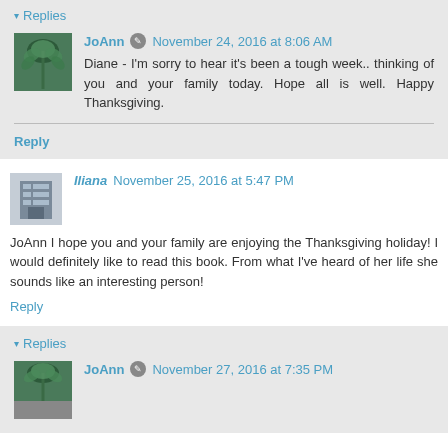▾ Replies
JoAnn  November 24, 2016 at 8:06 AM
Diane - I'm sorry to hear it's been a tough week.. thinking of you and your family today. Hope all is well. Happy Thanksgiving.
Reply
Iliana  November 25, 2016 at 5:47 PM
JoAnn I hope you and your family are enjoying the Thanksgiving holiday! I would definitely like to read this book. From what I've heard of her life she sounds like an interesting person!
Reply
▾ Replies
JoAnn  November 27, 2016 at 7:35 PM